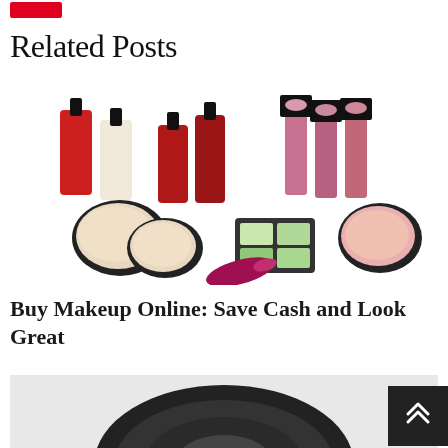[Figure (other): Red navigation bar element at top]
Related Posts
[Figure (photo): Collection of makeup products including lipsticks, nail polishes, powder compacts, eye shadow palettes, and lip gloss arranged on white background]
Buy Makeup Online: Save Cash and Look Great
[Figure (photo): Black speaker or audio equipment, partially visible at bottom of page]
[Figure (other): Dark scroll-to-top arrow button in bottom right corner]